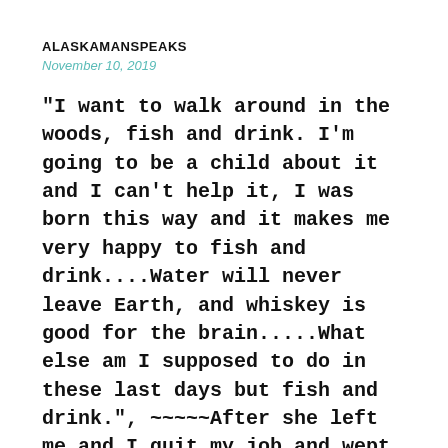ALASKAMANSPEAKS
November 10, 2019
“I want to walk around in the woods, fish and drink. I’m going to be a child about it and I can’t help it, I was born this way and it makes me very happy to fish and drink....Water will never leave Earth, and whiskey is good for the brain.....What else am I supposed to do in these last days but fish and drink.”, ~~~~~After she left me and I quit my job and wept for a year and~~~~~All of my poems were born dead, I decided I would only fish and drink.....In the river was a trout and I was on the bank, my heart in my chest, clouds above,